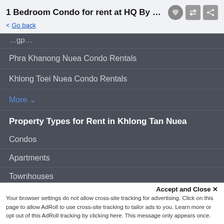1 Bedroom Condo for rent at HQ By San... < Go back
Phra Khanong Nuea Condo Rentals
Khlong Toei Nuea Condo Rentals
More ∨
Property Types for Rent in Khlong Tan Nuea
Condos
Apartments
Townhouses
Houses
Penthouses
Villas
Accept and Close ✕
Your browser settings do not allow cross-site tracking for advertising. Click on this page to allow AdRoll to use cross-site tracking to tailor ads to you. Learn more or opt out of this AdRoll tracking by clicking here. This message only appears once.